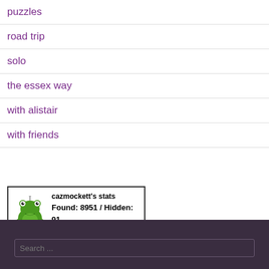puzzles
road trip
solo
the essex way
with alistair
with friends
[Figure (infographic): cazmockett's geocaching stats badge showing a frog mascot icon, text: cazmockett's stats, Found: 8951 / Hidden: 91, Let's Go Geocaching!]
Search ...